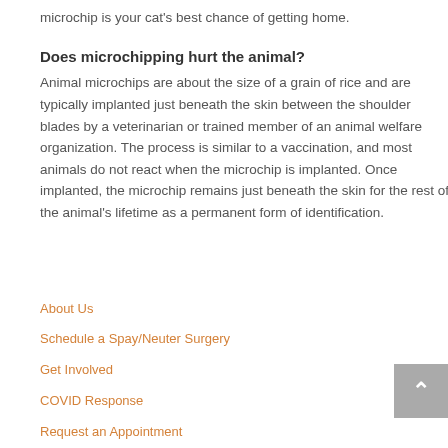microchip is your cat's best chance of getting home.
Does microchipping hurt the animal?
Animal microchips are about the size of a grain of rice and are typically implanted just beneath the skin between the shoulder blades by a veterinarian or trained member of an animal welfare organization. The process is similar to a vaccination, and most animals do not react when the microchip is implanted. Once implanted, the microchip remains just beneath the skin for the rest of the animal's lifetime as a permanent form of identification.
About Us
Schedule a Spay/Neuter Surgery
Get Involved
COVID Response
Request an Appointment